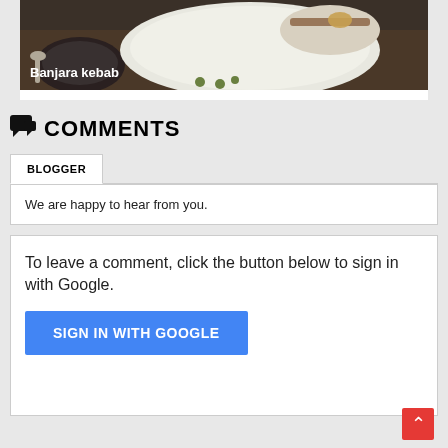[Figure (photo): Food photo showing plates with Banjara kebab on a dark table, with caption 'Banjara kebab' overlaid in white text on lower left]
COMMENTS
BLOGGER
We are happy to hear from you.
To leave a comment, click the button below to sign in with Google.
SIGN IN WITH GOOGLE